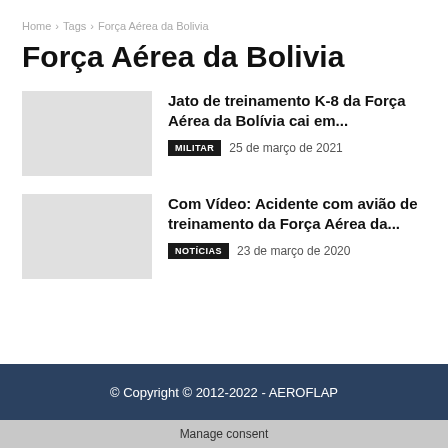Home › Tags › Força Aérea da Bolivia
Força Aérea da Bolivia
Jato de treinamento K-8 da Força Aérea da Bolívia cai em...
MILITAR  25 de março de 2021
Com Vídeo: Acidente com avião de treinamento da Força Aérea da...
NOTÍCIAS  23 de março de 2020
© Copyright © 2012-2022 - AEROFLAP
Manage consent